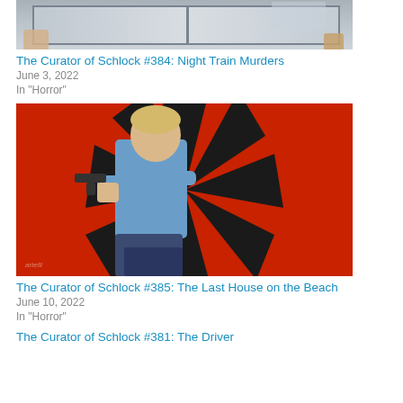[Figure (photo): Partial view of a dark scene through a train window with hands visible]
The Curator of Schlock #384: Night Train Murders
June 3, 2022
In "Horror"
[Figure (photo): Movie poster for The Last House on the Beach showing a young man with a gun against a red and black sunburst background]
The Curator of Schlock #385: The Last House on the Beach
June 10, 2022
In "Horror"
The Curator of Schlock #381: The Driver